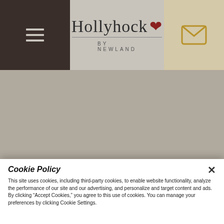[Figure (logo): Hollyhock by Newland logo with red flower icon, centered in navigation bar]
Dallas ranks No. 1 on the “Where To Invest in Housing In 2017” list from Forbes magazine. Solid economic indicators including job growth, population growth, and year-over-year home price growth vaulted Dallas to the top of the 20 U.S. markets on the list.
READ MORE
Cookie Policy
This site uses cookies, including third-party cookies, to enable website functionality, analyze the performance of our site and our advertising, and personalize and target content and ads. By clicking “Accept Cookies,” you agree to this use of cookies. You can manage your preferences by clicking Cookie Settings.